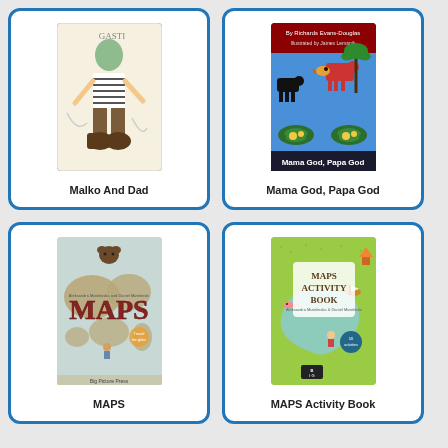[Figure (illustration): Book cover for 'Malko And Dad' showing a cartoon child character in striped shirt and large boots]
Malko And Dad
[Figure (illustration): Book cover for 'Mama God, Papa God' with colorful folk art animals on blue background]
Mama God, Papa God
[Figure (illustration): Book cover for 'MAPS' showing a vintage-style world map with large red MAPS lettering]
MAPS
[Figure (illustration): Book cover for 'MAPS Activity Book' on a green background showing a map of Europe with illustrated characters]
MAPS Activity Book